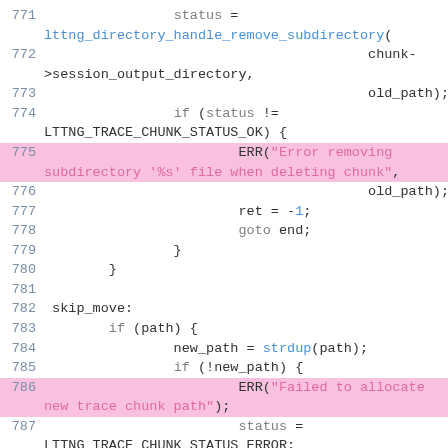[Figure (screenshot): Source code listing showing C code lines 771-789, with line numbers in blue-grey on left and syntax-highlighted code. Lines 775 and 786-787 have pink highlight backgrounds. Keywords in grey, function names in blue, string literals in pink.]